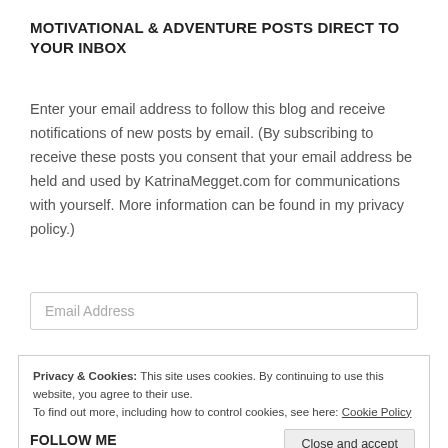MOTIVATIONAL & ADVENTURE POSTS DIRECT TO YOUR INBOX
Enter your email address to follow this blog and receive notifications of new posts by email. (By subscribing to receive these posts you consent that your email address be held and used by KatrinaMegget.com for communications with yourself. More information can be found in my privacy policy.)
Email Address
Privacy & Cookies: This site uses cookies. By continuing to use this website, you agree to their use.
To find out more, including how to control cookies, see here: Cookie Policy
Close and accept
FOLLOW ME